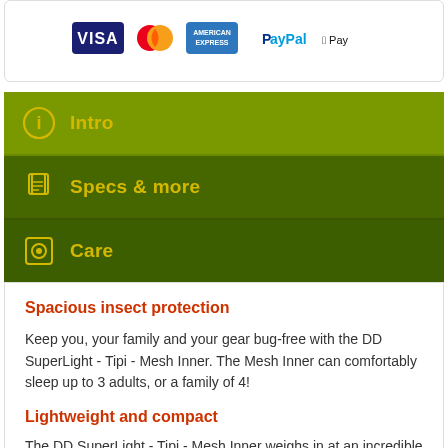[Figure (logo): Payment method logos: Visa, Mastercard, American Express, PayPal, Apple Pay]
Intro
Specs & more
Care
Spacious insect protection
Keep you, your family and your gear bug-free with the DD SuperLight - Tipi - Mesh Inner. The Mesh Inner can comfortably sleep up to 3 adults, or a family of 4!
Lightweight and compact
The DD SuperLight - Tipi - Mesh Inner weighs in at an incredible 950g excluding pegs with a seriously small